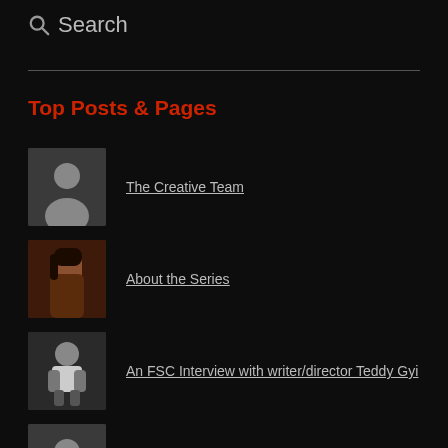Search
Top Posts & Pages
The Creative Team
About the Series
An FSC Interview with writer/director Teddy Gyi
Front Seat Chronicles